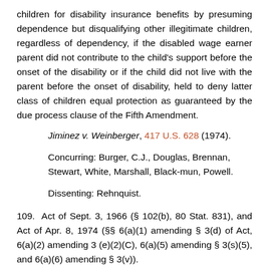children for disability insurance benefits by presuming dependence but disqualifying other illegitimate children, regardless of dependency, if the disabled wage earner parent did not contribute to the child's support before the onset of the disability or if the child did not live with the parent before the onset of disability, held to deny latter class of children equal protection as guaranteed by the due process clause of the Fifth Amendment.
Jiminez v. Weinberger, 417 U.S. 628 (1974).
Concurring: Burger, C.J., Douglas, Brennan, Stewart, White, Marshall, Black-mun, Powell.
Dissenting: Rehnquist.
109. Act of Sept. 3, 1966 (§ 102(b), 80 Stat. 831), and Act of Apr. 8, 1974 (§§ 6(a)(1) amending § 3(d) of Act, 6(a)(2) amending 3 (e)(2)(C), 6(a)(5) amending § 3(s)(5), and 6(a)(6) amending § 3(v)).